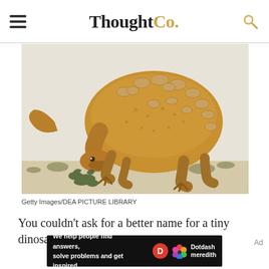ThoughtCo.
[Figure (illustration): Illustration of a small armored dinosaur (ankylosaur-type) bent down grazing on vegetation, brownish-golden color with oval bumps/scutes on its back, long tail, sturdy legs, against a pale background with sparse grasses.]
Getty Images/DEA PICTURE LIBRARY
You couldn't ask for a better name for a tiny dinosaur than
[Figure (infographic): Dark advertisement banner: 'We help people find answers, solve problems and get inspired.' with Dotdash Meredith branding logo and colorful flower-like icon.]